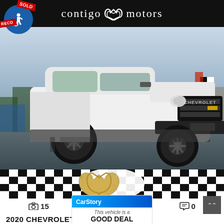[Figure (logo): Contigo Motors dealer logo - white text on black bar with horseshoe emblem]
[Figure (photo): 2020 Chevrolet Silverado 1500 white pickup truck with lifted suspension and black wheels, photographed at car dealership lot]
[Figure (logo): Contigo Motors horseshoe logo overlaid on checkered flag pattern banner]
15
0
0
CarStory
This vehicle is a
GOOD DEAL
2020 CHEVROLET SILVERADO 1500